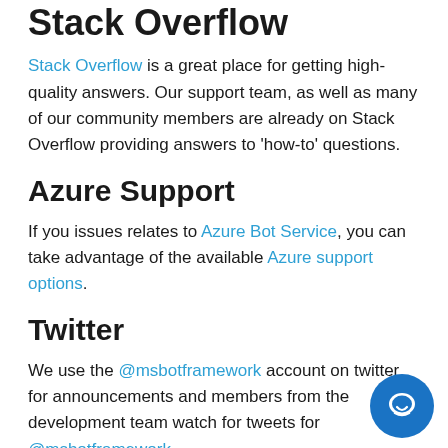Stack Overflow
Stack Overflow is a great place for getting high-quality answers. Our support team, as well as many of our community members are already on Stack Overflow providing answers to 'how-to' questions.
Azure Support
If you issues relates to Azure Bot Service, you can take advantage of the available Azure support options.
Twitter
We use the @msbotframework account on twitter for announcements and members from the development team watch for tweets for @msbotframework.
Gitter Chat Room